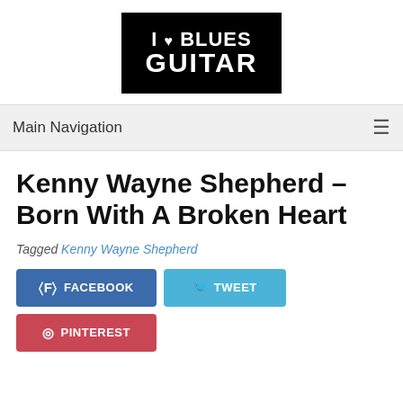[Figure (logo): I Love Blues Guitar logo — black rectangle with stylized text and heart/guitar icon]
Main Navigation
Kenny Wayne Shepherd – Born With A Broken Heart
Tagged Kenny Wayne Shepherd
FACEBOOK   TWEET   PINTEREST